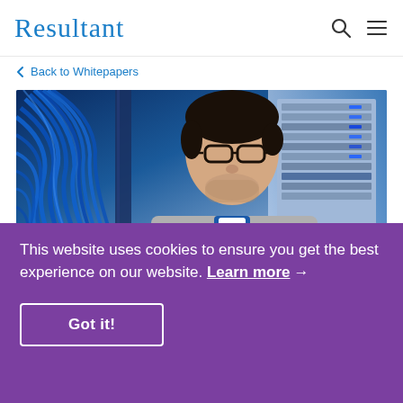Resultant
← Back to Whitepapers
[Figure (photo): IT technician with glasses looking down at server rack with dense blue network cables]
This website uses cookies to ensure you get the best experience on our website. Learn more →
Got it!